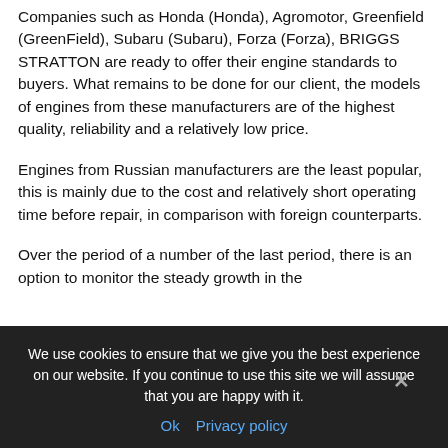Companies such as Honda (Honda), Agromotor, Greenfield (GreenField), Subaru (Subaru), Forza (Forza), BRIGGS STRATTON are ready to offer their engine standards to buyers. What remains to be done for our client, the models of engines from these manufacturers are of the highest quality, reliability and a relatively low price.
Engines from Russian manufacturers are the least popular, this is mainly due to the cost and relatively short operating time before repair, in comparison with foreign counterparts.
Over the period of a number of the last period, there is an option to monitor the steady growth in the
We use cookies to ensure that we give you the best experience on our website. If you continue to use this site we will assume that you are happy with it.
Ok   Privacy policy